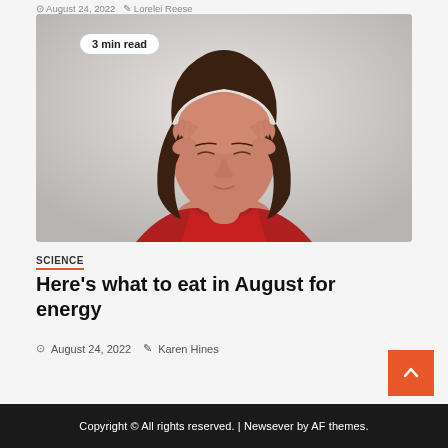August 24, 2022  Lorelei Reese
[Figure (photo): Woman in red satin top pressing fingertips to temples with eyes closed, on grey background. Badge overlay reads '3 min read'.]
SCIENCE
Here's what to eat in August for energy
August 24, 2022  Karen Hines
Copyright © All rights reserved. | Newsever by AF themes.